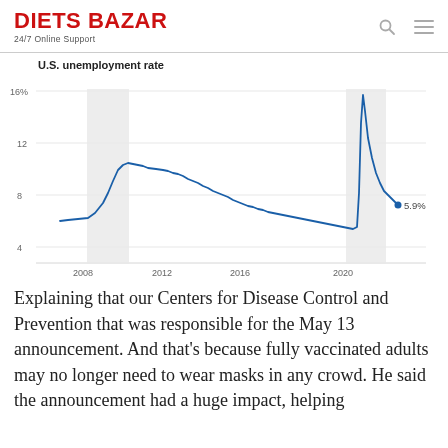DIETS BAZAR
24/7 Online Support
[Figure (line-chart): U.S. unemployment rate]
Explaining that our Centers for Disease Control and Prevention that was responsible for the May 13 announcement. And that’s because fully vaccinated adults may no longer need to wear masks in any crowd. He said the announcement had a huge impact, helping